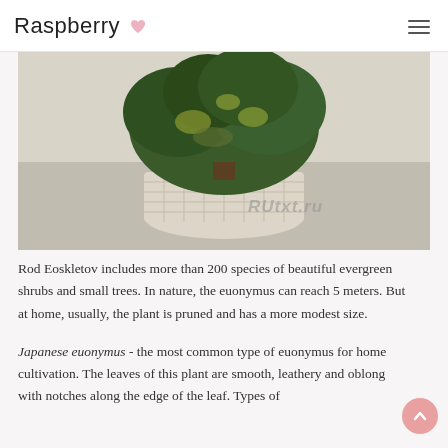Raspberry
[Figure (photo): A potted euonymus plant with green and yellow variegated leaves in a white wicker basket pot, placed near a window. Watermark 'RUtxt.ru' visible in lower right area of image.]
Rod Eoskletov includes more than 200 species of beautiful evergreen shrubs and small trees. In nature, the euonymus can reach 5 meters. But at home, usually, the plant is pruned and has a more modest size.
Japanese euonymus - the most common type of euonymus for home cultivation. The leaves of this plant are smooth, leathery and oblong with notches along the edge of the leaf. Types of